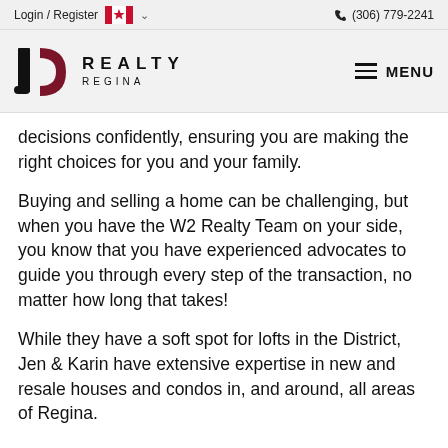Login / Register  (306) 779-2241
[Figure (logo): JC Realty Regina logo with stylized J and C letterforms in black and dark red, beside text REALTY REGINA]
decisions confidently, ensuring you are making the right choices for you and your family.
Buying and selling a home can be challenging, but when you have the W2 Realty Team on your side, you know that you have experienced advocates to guide you through every step of the transaction, no matter how long that takes!
While they have a soft spot for lofts in the District, Jen & Karin have extensive expertise in new and resale houses and condos in, and around, all areas of Regina.